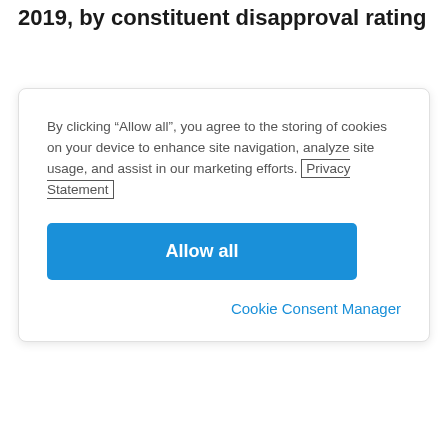2019, by constituent disapproval rating
By clicking “Allow all”, you agree to the storing of cookies on your device to enhance site navigation, analyze site usage, and assist in our marketing efforts. Privacy Statement
Allow all
Cookie Consent Manager